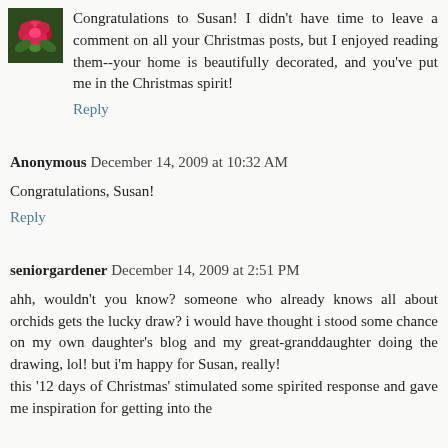[Figure (photo): Small avatar image of a pink/red rose flower on green background]
Congratulations to Susan! I didn't have time to leave a comment on all your Christmas posts, but I enjoyed reading them--your home is beautifully decorated, and you've put me in the Christmas spirit!
Reply
Anonymous  December 14, 2009 at 10:32 AM
Congratulations, Susan!
Reply
seniorgardener  December 14, 2009 at 2:51 PM
ahh, wouldn't you know? someone who already knows all about orchids gets the lucky draw? i would have thought i stood some chance on my own daughter's blog and my great-granddaughter doing the drawing, lol! but i'm happy for Susan, really!
this '12 days of Christmas' stimulated some spirited response and gave me inspiration for getting into the